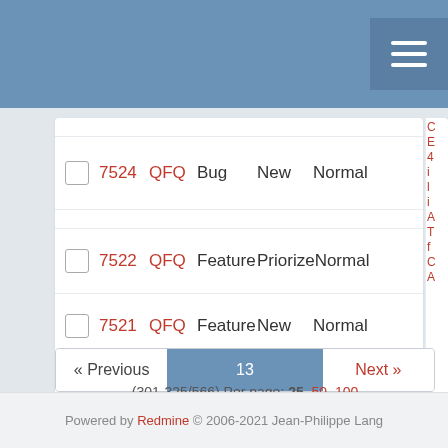|  | # | Project | Tracker | Status | Priority | Subject |
| --- | --- | --- | --- | --- | --- | --- |
|  | 7524 | QFQ | Bug | New | Normal |  |
|  | 7522 | QFQ | Feature | Priorize | Normal |  |
|  | 7521 | QFQ | Feature | New | Normal |  |
|  | 7520 | QFQ | Feature | New | Normal |  |
« Previous  13  Next »
(301-325/566) Per page: 25, 50, 100
Also available in: Atom | CSV | PDF
Powered by Redmine © 2006-2021 Jean-Philippe Lang